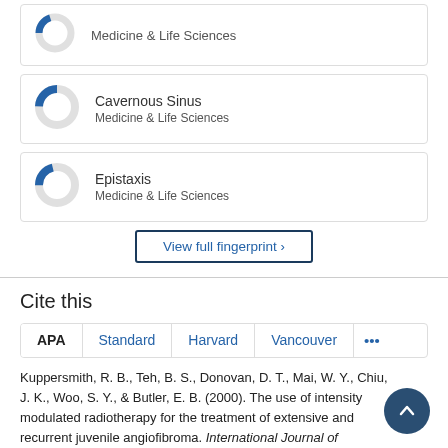[Figure (donut-chart): Partial donut chart for Medicine & Life Sciences (top, cropped)]
[Figure (donut-chart): Donut chart for Cavernous Sinus, Medicine & Life Sciences]
[Figure (donut-chart): Donut chart for Epistaxis, Medicine & Life Sciences]
View full fingerprint >
Cite this
APA | Standard | Harvard | Vancouver | ...
Kuppersmith, R. B., Teh, B. S., Donovan, D. T., Mai, W. Y., Chiu, J. K., Woo, S. Y., & Butler, E. B. (2000). The use of intensity modulated radiotherapy for the treatment of extensive and recurrent juvenile angiofibroma. International Journal of